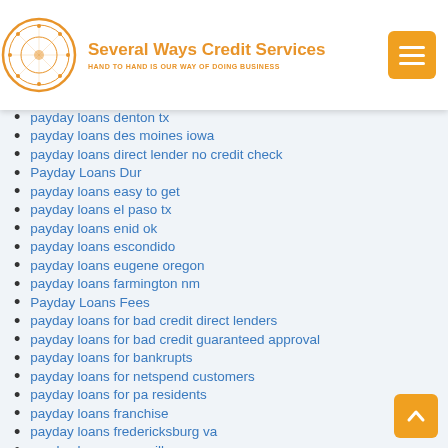[Figure (logo): Several Ways Credit Services logo with circular seal and orange text]
payday loans denton tx
payday loans des moines iowa
payday loans direct lender no credit check
Payday Loans Dur
payday loans easy to get
payday loans el paso tx
payday loans enid ok
payday loans escondido
payday loans eugene oregon
payday loans farmington nm
Payday Loans Fees
payday loans for bad credit direct lenders
payday loans for bad credit guaranteed approval
payday loans for bankrupts
payday loans for netspend customers
payday loans for pa residents
payday loans franchise
payday loans fredericksburg va
payday loans greenville sc